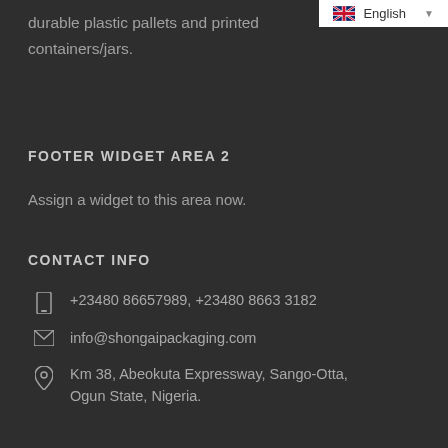durable plastic pallets and printed containers/jars.
FOOTER WIDGET AREA 2
Assign a widget to this area now.
CONTACT INFO
+23480 86657989, +23480 8663 3182
info@shongaipackaging.com
Km 38, Abeokuta Expressway, Sango-Otta, Ogun State, Nigeria.